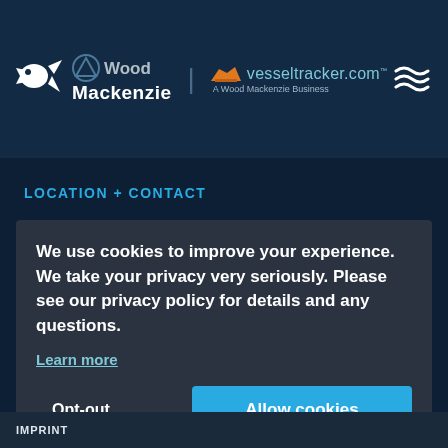[Figure (logo): Wood Mackenzie and vesseltracker.com logos in dark blue header with dragon icon and wave icon]
LOCATION + CONTACT
We use cookies to improve your experience. We take your privacy very seriously. Please see our privacy policy for details and any questions.
Learn more
Opt-out
Allow cookies
IMPRINT